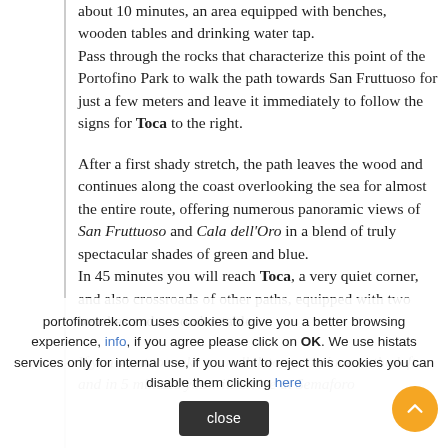about 10 minutes, an area equipped with benches, wooden tables and drinking water tap. Pass through the rocks that characterize this point of the Portofino Park to walk the path towards San Fruttuoso for just a few meters and leave it immediately to follow the signs for Toca to the right.
After a first shady stretch, the path leaves the wood and continues along the coast overlooking the sea for almost the entire route, offering numerous panoramic views of San Fruttuoso and Cala dell'Oro in a blend of truly spectacular shades of green and blue. In 45 minutes you will reach Toca, a very quiet corner, and also crossroads of other paths, equipped with two benches and a wooden table.
If you want to make a small detour, continue to the left and in 5 minutes you will arrive at Semaforo Nuovo, a highly panoramic location on the rocks...
portofinotrek.com uses cookies to give you a better browsing experience, info, if you agree please click on OK. We use histats services only for internal use, if you want to reject this cookies you can disable them clicking here